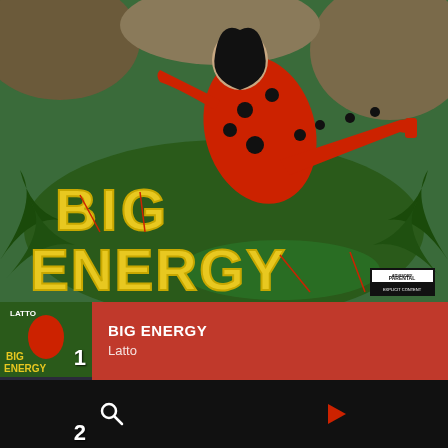[Figure (photo): Album cover for 'Big Energy' by Latto. A woman in a red and black polka-dot latex bodysuit poses in a jungle setting. Large yellow fuzzy letters spell 'BIG ENERGY' in the foreground. Parental Advisory label in bottom right corner.]
1 BIG ENERGY Latto
2 HRS AND HRS Muni Long